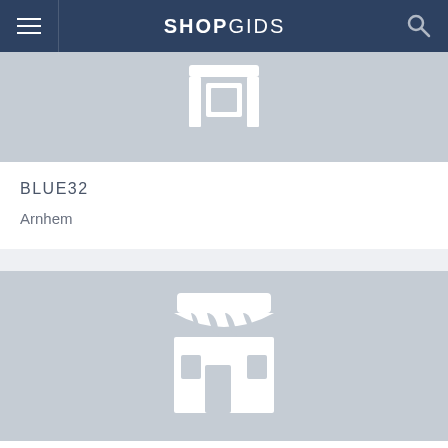SHOPGIDS
[Figure (illustration): Store/shop icon with awning, gray background, top card]
BLUE32
Arnhem
[Figure (illustration): Store/shop icon with striped awning, larger gray background, bottom card]
BLUE32
Arnhem